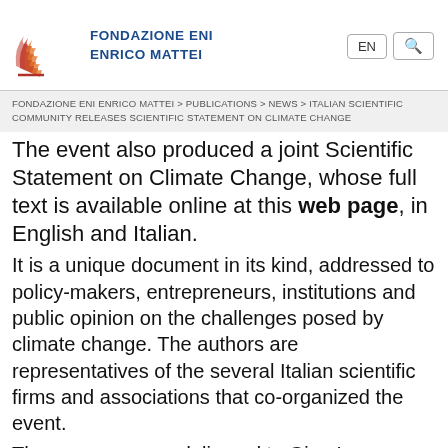Fondazione Eni Enrico Mattei
FONDAZIONE ENI ENRICO MATTEI > PUBLICATIONS > NEWS > ITALIAN SCIENTIFIC COMMUNITY RELEASES SCIENTIFIC STATEMENT ON CLIMATE CHANGE
The event also produced a joint Scientific Statement on Climate Change, whose full text is available online at this web page, in English and Italian.
It is a unique document in its kind, addressed to policy-makers, entrepreneurs, institutions and public opinion on the challenges posed by climate change. The authors are representatives of the several Italian scientific firms and associations that co-organized the event.
The message was delivered to Gian Luca